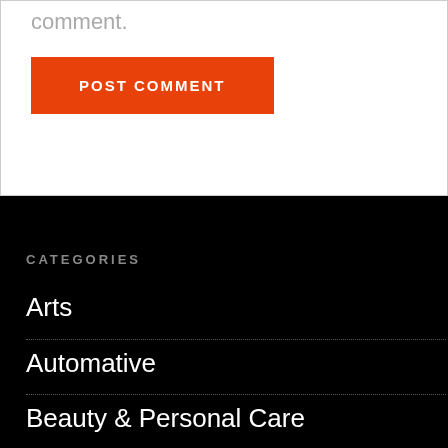comment.
POST COMMENT
CATEGORIES
Arts
Automative
Beauty & Personal Care